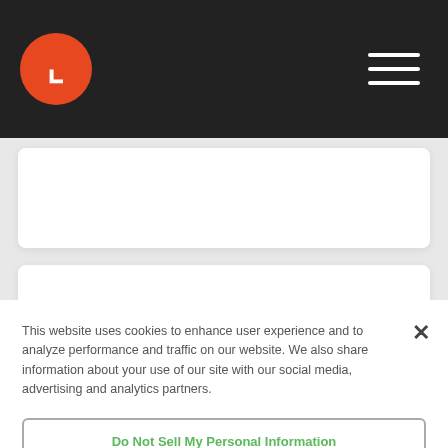Website header with logo and navigation menu
[Figure (screenshot): White card content area partially visible below header]
[Figure (screenshot): Second white card content area with orange left accent bar]
This website uses cookies to enhance user experience and to analyze performance and traffic on our website. We also share information about your use of our site with our social media, advertising and analytics partners.
Do Not Sell My Personal Information
Accept Cookies